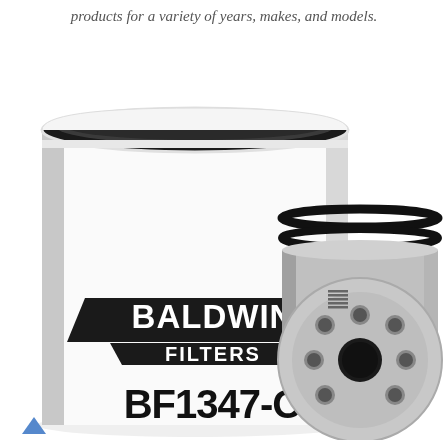products for a variety of years, makes, and models.
[Figure (photo): Baldwin Filters BF1347-O fuel filter product photo showing a white cylindrical spin-on filter with the Baldwin Filters logo and model number BF1347-O printed on it, alongside a close-up view of the filter's metal base plate showing mounting threads and holes.]
[Figure (other): Arrow/chevron up navigation icon in blue]